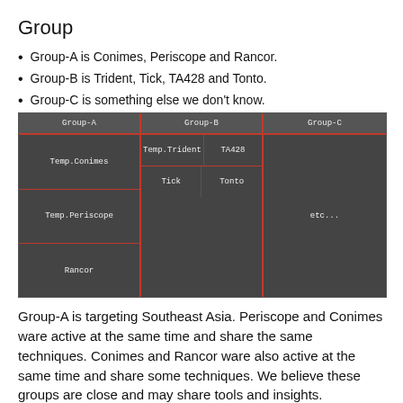Group
Group-A is Conimes, Periscope and Rancor.
Group-B is Trident, Tick, TA428 and Tonto.
Group-C is something else we don't know.
[Figure (other): A dark-themed grid diagram showing three groups (Group-A, Group-B, Group-C) and their member tools: Group-A contains Temp.Conimes, Temp.Periscope, Rancor; Group-B contains Temp.Trident, TA428, Tick, Tonto; Group-C contains etc...]
Group-A is targeting Southeast Asia. Periscope and Conimes ware active at the same time and share the same techniques. Conimes and Rancor ware also active at the same time and share some techniques. We believe these groups are close and may share tools and insights.